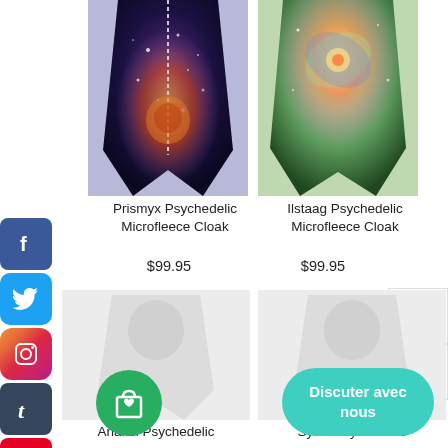[Figure (photo): Prismyx Psychedelic Microfleece Cloak product photo - colorful cosmic/fractal pattern jacket]
[Figure (photo): Ilstaag Psychedelic Microfleece Cloak product photo - colorful psychedelic mandala pattern cloak]
Prismyx Psychedelic Microfleece Cloak
$99.95
Ilstaag Psychedelic Microfleece Cloak
$99.95
[Figure (infographic): Social media share buttons bar on left: Facebook (blue), Twitter (sky blue), Instagram (gradient pink/purple), Tumblr (dark blue), Pinterest (red)]
[Figure (infographic): Wishlist heart icon with badge showing 0]
[Figure (infographic): Compare scales icon with badge showing 0]
[Figure (photo): Anansi Psychedelic product placeholder image (light grey)]
[Figure (photo): Sylas Psychedelic product placeholder image (light grey)]
[Figure (infographic): Green circular cart/wishlist button with shopping bag and heart icon]
[Figure (infographic): Teal rounded button labeled 'Discuter avec nous']
Anansi Psychedelic
Sylas Psychedelic